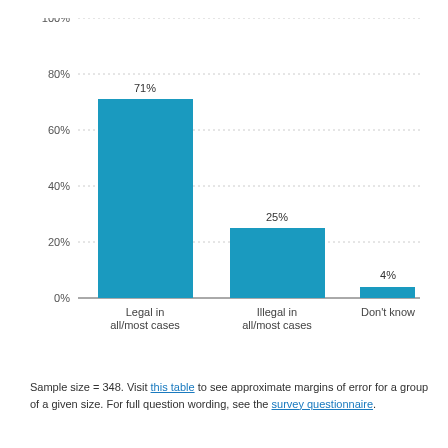[Figure (bar-chart): ]
Sample size = 348. Visit this table to see approximate margins of error for a group of a given size. For full question wording, see the survey questionnaire.